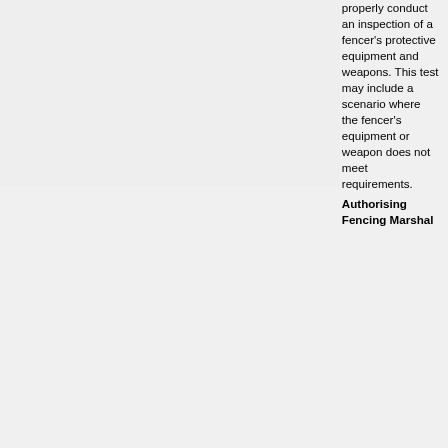properly conduct an inspection of a fencer's protective equipment and weapons. This test may include a scenario where the fencer's equipment or weapon does not meet requirements.
Authorising Fencing Marshal